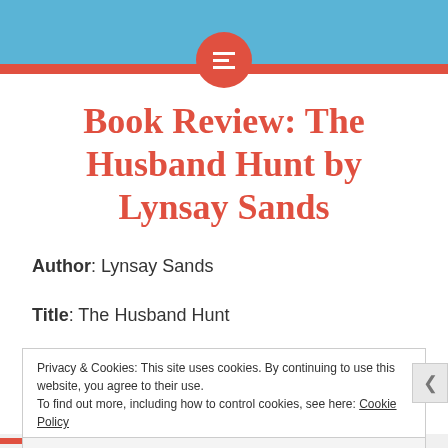[Figure (logo): Website header with light blue background, red horizontal bar, and red circle logo with three horizontal white lines (hamburger/menu icon)]
Book Review: The Husband Hunt by Lynsay Sands
Author: Lynsay Sands
Title: The Husband Hunt
Privacy & Cookies: This site uses cookies. By continuing to use this website, you agree to their use. To find out more, including how to control cookies, see here: Cookie Policy
Close and accept